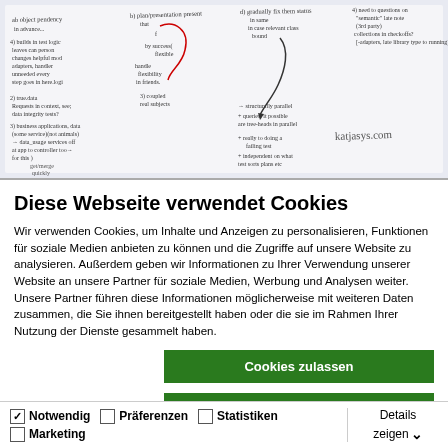[Figure (photo): Handwritten notes on paper with various text in multiple columns, partially visible, with a watermark/signature reading katjasys.com]
Diese Webseite verwendet Cookies
Wir verwenden Cookies, um Inhalte und Anzeigen zu personalisieren, Funktionen für soziale Medien anbieten zu können und die Zugriffe auf unsere Website zu analysieren. Außerdem geben wir Informationen zu Ihrer Verwendung unserer Website an unsere Partner für soziale Medien, Werbung und Analysen weiter. Unsere Partner führen diese Informationen möglicherweise mit weiteren Daten zusammen, die Sie ihnen bereitgestellt haben oder die sie im Rahmen Ihrer Nutzung der Dienste gesammelt haben.
Cookies zulassen
Auswahl erlauben
Nur notwendige Cookies verwenden
Notwendig  Präferenzen  Statistiken  Marketing  Details zeigen